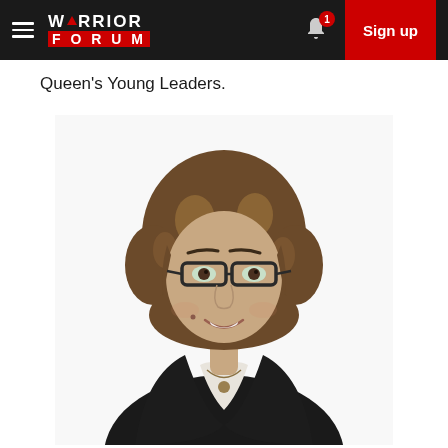Warrior Forum — Sign up
Queen's Young Leaders.
[Figure (photo): Professional headshot of a woman with curly brown hair, wearing glasses and a dark blazer over a white shirt, smiling, on a white background.]